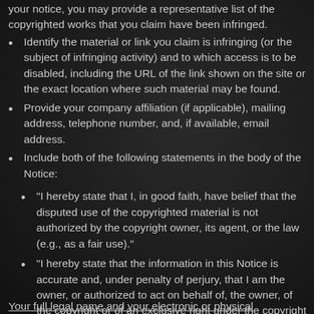your notice, you may provide a representative list of the copyrighted works that you claim have been infringed.
Identify the material or link you claim is infringing (or the subject of infringing activity) and to which access is to be disabled, including the URL of the link shown on the site or the exact location where such material may be found.
Provide your company affiliation (if applicable), mailing address, telephone number, and, if available, email address.
Include both of the following statements in the body of the Notice:
"I hereby state that I, in good faith, have belief that the disputed use of the copyrighted material is not authorized by the copyright owner, its agent, or the law (e.g., as a fair use)."
"I hereby state that the information in this Notice is accurate and, under penalty of perjury, that I am the owner, or authorized to act on behalf of, the owner, of the copyright or of an exclusive right under the copyright that is allegedly infringed."
Your full legal name and your electronic or physical...